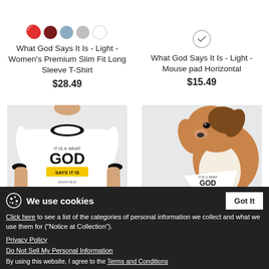[Figure (photo): Product listing screenshot showing t-shirt and mouse pad at top, with color swatches]
What God Says It Is - Light - Women's Premium Slim Fit Long Sleeve T-Shirt
$28.49
What God Says It Is - Light - Mouse pad Horizontal
$15.49
[Figure (photo): Man wearing white ringer t-shirt with 'GOD SAYS IT IS' graphic]
[Figure (photo): Dog wearing white bandana with 'GOD SAYS IT IS' graphic]
We use cookies
Click here to see a list of the categories of personal information we collect and what we use them for ("Notice at Collection").
Privacy Policy
Do Not Sell My Personal Information
By using this website, I agree to the Terms and Conditions
Got It
What God Says It Is - Light - Men's T-Shirt
$25.99
What God Says It Is - Light - Dog Bandana
$15.99